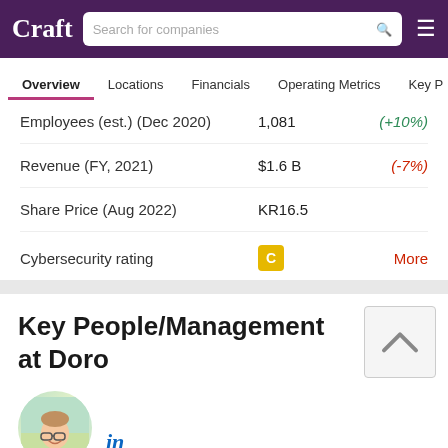Craft | Search for companies
Overview | Locations | Financials | Operating Metrics | Key P
| Metric | Value | Change |
| --- | --- | --- |
| Employees (est.) (Dec 2020) | 1,081 | (+10%) |
| Revenue (FY, 2021) | $1.6 B | (-7%) |
| Share Price (Aug 2022) | KR16.5 |  |
| Cybersecurity rating | C | More |
Profile
Key People/Management at Doro